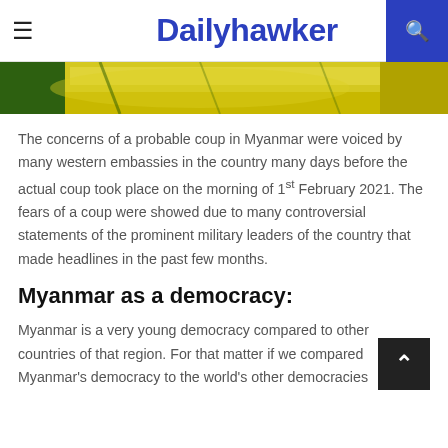Dailyhawker
[Figure (photo): Close-up photo of green and yellow bananas or similar tropical fruit]
The concerns of a probable coup in Myanmar were voiced by many western embassies in the country many days before the actual coup took place on the morning of 1st February 2021. The fears of a coup were showed due to many controversial statements of the prominent military leaders of the country that made headlines in the past few months.
Myanmar as a democracy:
Myanmar is a very young democracy compared to other countries of that region. For that matter if we compared Myanmar's democracy to the world's other democracies